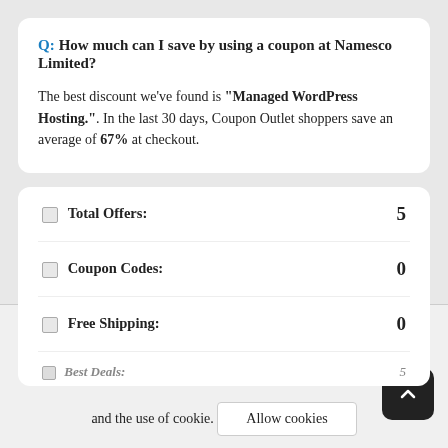Q: How much can I save by using a coupon at Namesco Limited?
The best discount we've found is "Managed WordPress Hosting.". In the last 30 days, Coupon Outlet shoppers save an average of 67% at checkout.
🏷 Total Offers: 5
🏷 Coupon Codes: 0
🏷 Free Shipping: 0
🏷 Best Deals: 5
We use cookies to collect and analyze information on site performance and usage, and to enhance and customize content and advertisements. By clicking accept, you accept our Privacy Policy and the use of cookie. Allow cookies